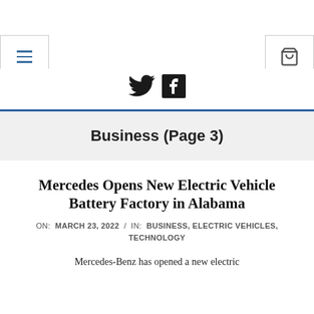≡  [social icons: Twitter, Facebook]  🛒
Business (Page 3)
Mercedes Opens New Electric Vehicle Battery Factory in Alabama
ON: MARCH 23, 2022 / IN: BUSINESS, ELECTRIC VEHICLES, TECHNOLOGY
Mercedes-Benz has opened a new electric